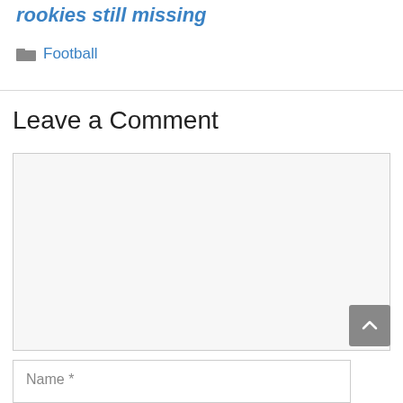rookies still missing
Football
Leave a Comment
Name *